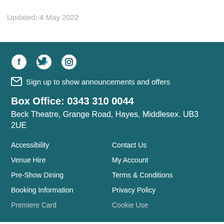Updated: 4 May 2022
[Figure (other): Social media icons: Facebook, Twitter, Instagram]
Sign up to show announcements and offers
Box Office: 0343 310 0044
Beck Theatre, Grange Road, Hayes, Middlesex. UB3 2UE
Accessibility
Contact Us
Venue Hire
My Account
Pre-Show Dining
Terms & Conditions
Booking Information
Privacy Policy
Premiere Card
Cookie Use